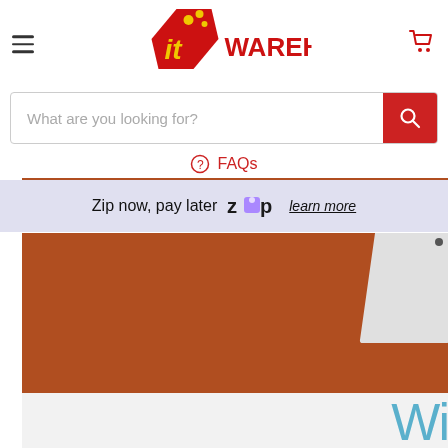[Figure (screenshot): IT Warehouse website screenshot showing: hamburger menu icon top-left, IT Warehouse logo (red pentagon with 'it' in yellow letters and 'WAREHOUSE' in red text) centered at top, shopping cart icon top-right, a search bar with placeholder 'What are you looking for?' and red search button, FAQs link with question-mark circle icon, a Zip now pay later banner in lavender, and a product hero image area showing a brown/orange background with laptop corner visible and 'Wi' text in blue at bottom right.]